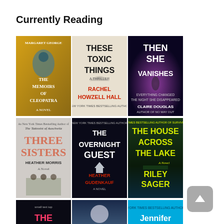Currently Reading
[Figure (illustration): Grid of book covers currently being read. Row 1: The Memoirs of Cleopatra by Margaret George, These Toxic Things by Rachel Howzell Hall, Then She Vanishes by Claire Douglas. Row 2: Three Sisters by Heather Morris, The Overnight Guest by Heather Gudenkauf, The House Across the Lake by Riley Sager. Row 3 (partial): The Last... (title cut off), Sea of... (title cut off), Jennifer Weiner book (title cut off).]
[Figure (illustration): Scroll-up button (grey rounded square with upward arrow) in the bottom right corner.]